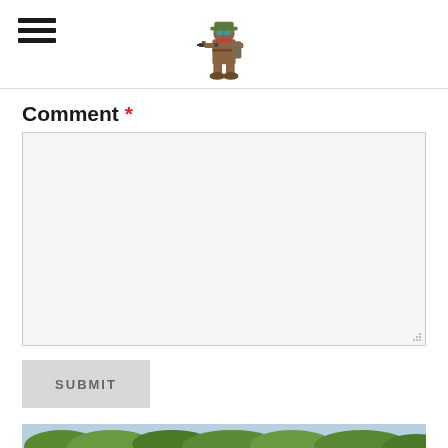Navigation menu and site logo
Comment *
[Comment textarea input field]
SUBMIT
[Figure (photo): Outdoor nature scene with green shrubs and vegetation against a light sky, cropped at bottom of page]